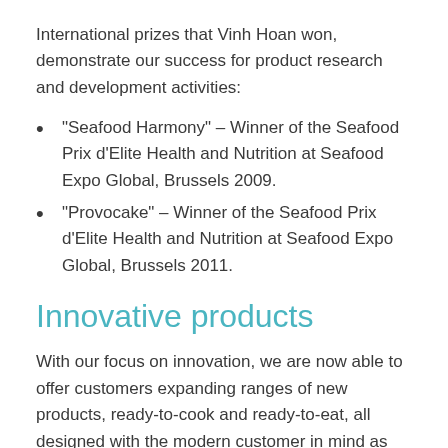International prizes that Vinh Hoan won, demonstrate our success for product research and development activities:
“Seafood Harmony” – Winner of the Seafood Prix d’Elite Health and Nutrition at Seafood Expo Global, Brussels 2009.
“Provocake” – Winner of the Seafood Prix d’Elite Health and Nutrition at Seafood Expo Global, Brussels 2011.
Innovative products
With our focus on innovation, we are now able to offer customers expanding ranges of new products, ready-to-cook and ready-to-eat, all designed with the modern customer in mind as well as offering bespoke choices